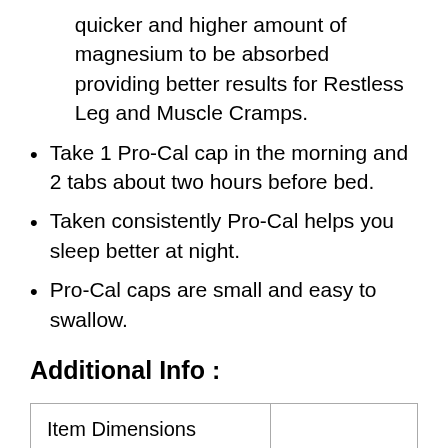quicker and higher amount of magnesium to be absorbed providing better results for Restless Leg and Muscle Cramps.
Take 1 Pro-Cal cap in the morning and 2 tabs about two hours before bed.
Taken consistently Pro-Cal helps you sleep better at night.
Pro-Cal caps are small and easy to swallow.
Additional Info :
| Item Dimensions |  |
| Height | 5025 |
| Width | 2.0 |